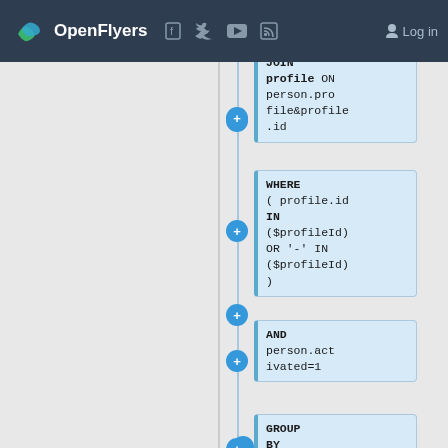OpenFlyers — Log in
[Figure (screenshot): OpenFlyers website navigation bar with logo, social media icons (Facebook, Twitter, YouTube, RSS), and Log in link]
LEFT JOIN profile ON person.profile&profile.id
WHERE ( profile.id IN ($profileId) OR '-' IN ($profileId) )
AND person.activated=1
GROUP BY person.id